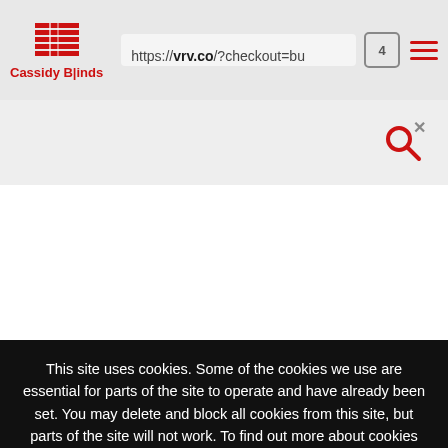[Figure (screenshot): Browser address bar showing Cassidy Blinds logo on left and URL https://vrv.co/?checkout=bu with tab count icon and hamburger menu icon on right]
[Figure (logo): VRV Premium logo: yellow circle with dark hexagon and white chevron, with text VRV PREMIUM below on dark navy background]
This site uses cookies. Some of the cookies we use are essential for parts of the site to operate and have already been set. You may delete and block all cookies from this site, but parts of the site will not work. To find out more about cookies on this website, see our
Privacy Policy
ACCEPT